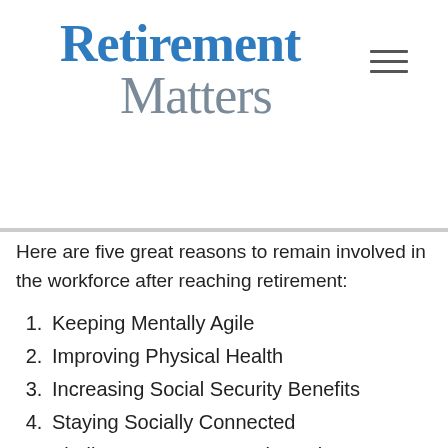Retirement Matters
Here are five great reasons to remain involved in the workforce after reaching retirement:
1. Keeping Mentally Agile
2. Improving Physical Health
3. Increasing Social Security Benefits
4. Staying Socially Connected
5. Finding a New Purpose in Retirement